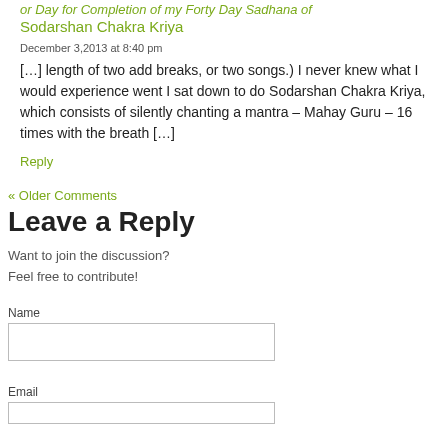or Day for Completion of my Forty Day Sadhana of Sodarshan Chakra Kriya
December 3, 2013 at 8:40 pm
[…] length of two add breaks, or two songs.) I never knew what I would experience went I sat down to do Sodarshan Chakra Kriya, which consists of silently chanting a mantra – Mahay Guru – 16 times with the breath […]
Reply
« Older Comments
Leave a Reply
Want to join the discussion?
Feel free to contribute!
Name
Email